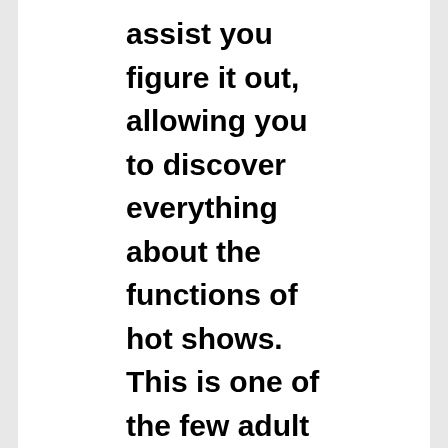assist you figure it out, allowing you to discover everything about the functions of hot shows. This is one of the few adult resources that offer customers with special erotica.
There are countless sensual and web cam sites online now. Each of them has its own specifics, some special nuances of services. Almost all adult “girls and young boys” need to know these features.
Our Expert Review Of Chaturbate With